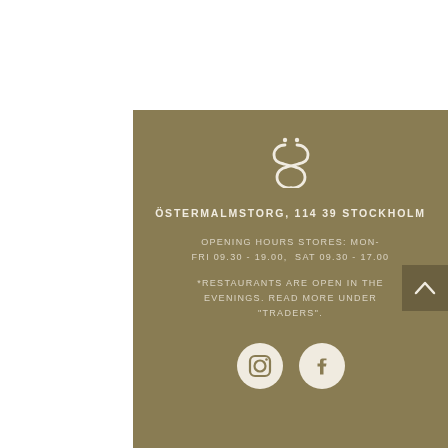[Figure (logo): Östermalms Saluhall stylized ÖS monogram logo in white/cream on tan background]
ÖSTERMALMSTORG, 114 39 STOCKHOLM
OPENING HOURS STORES: MON-FRI 09.30 - 19.00,  SAT 09.30 - 17.00
*RESTAURANTS ARE OPEN IN THE EVENINGS. READ MORE UNDER "TRADERS".
[Figure (logo): Instagram and Facebook social media icons in white circles on tan background]